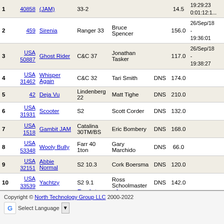| # | Sail # | Boat | Type | Skipper | Elapsed | Rating | Finish Time |
| --- | --- | --- | --- | --- | --- | --- | --- |
| 1 | 40858 | Ghost Rider (JAM) | 33-2 |  | 14.5 | 19:29:23 |  |
| 2 | 459 | Sirenia | Ranger 33 | Bruce Spencer | 156.0 | 26/Sep/18 - 19:36:01 | 0:01:16:01 |
| 3 | USA 50887 | Ghost Rider | C&C 37 | Jonathan Tasker | 117.0 | 26/Sep/18 - 19:38:27 | 0:01:18:27 |
| 4 | USA 31462 | Whisper Again | C&C 32 | Tari Smith | DNS | 174.0 |  |
| 5 | 42 | Deja Vu | Lindenberg 22 | Matt Tighe | DNS | 210.0 |  |
| 6 | USA 31931 | Scooter | S2 | Scott Corder | DNS | 132.0 |  |
| 7 | USA 1518 | Gambit JAM | Catalina 30TM/BS | Eric Bombery | DNS | 168.0 |  |
| 8 | USA 53348 | Wooly Bully | Farr 40 1ton | Gary Marchido | DNS | 66.0 |  |
| 9 | USA 32151 | Abbie Normal | S2 10.3 | Cork Boersma | DNS | 120.0 |  |
| 10 | USA 33539 | Yachtzy | S2 9.1 | Ross Schoolmaster | DNS | 142.0 |  |
| 11 | USA 43996 | VivenneJAM | N/M 43 | Tom Tabor | DNS | 6.0 |  |
| 12 | USA 43150 | Little Critter | C & C 36 | Dean Runk | DNS | 135.0 |  |
Back to previous page
Main Menu
Copyright © North Technology Group LLC 2000-2022